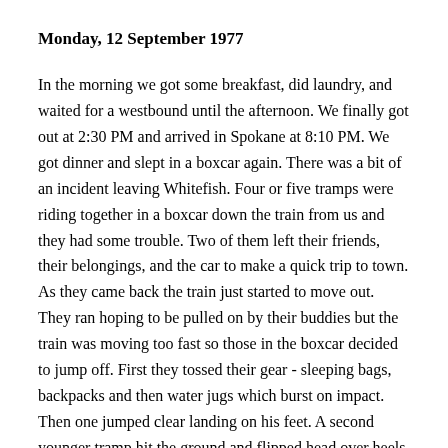Monday, 12 September 1977
In the morning we got some breakfast, did laundry, and waited for a westbound until the afternoon. We finally got out at 2:30 PM and arrived in Spokane at 8:10 PM. We got dinner and slept in a boxcar again. There was a bit of an incident leaving Whitefish. Four or five tramps were riding together in a boxcar down the train from us and they had some trouble. Two of them left their friends, their belongings, and the car to make a quick trip to town. As they came back the train just started to move out. They ran hoping to be pulled on by their buddies but the train was moving too fast so those in the boxcar decided to jump off. First they tossed their gear - sleeping bags, backpacks and then water jugs which burst on impact. Then one jumped clear landing on his feet. A second younger tramp hit the ground and flipped head over heels. A third older man decided to